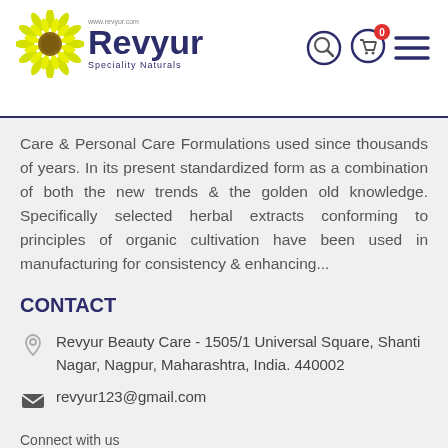[Figure (logo): Revyur Speciality Naturals logo with sunflower and brand name]
Care & Personal Care Formulations used since thousands of years. In its present standardized form as a combination of both the new trends & the golden old knowledge. Specifically selected herbal extracts conforming to principles of organic cultivation have been used in manufacturing for consistency & enhancing...
CONTACT
Revyur Beauty Care - 1505/1 Universal Square, Shanti Nagar, Nagpur, Maharashtra, India. 440002
revyur123@gmail.com
Connect with us
[Figure (illustration): Facebook and Instagram social media icons]